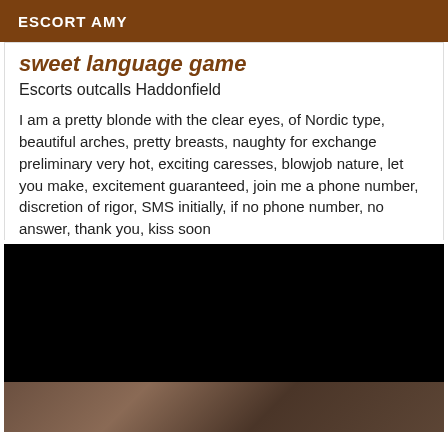ESCORT AMY
sweet language game
Escorts outcalls Haddonfield
I am a pretty blonde with the clear eyes, of Nordic type, beautiful arches, pretty breasts, naughty for exchange preliminary very hot, exciting caresses, blowjob nature, let you make, excitement guaranteed, join me a phone number, discretion of rigor, SMS initially, if no phone number, no answer, thank you, kiss soon
[Figure (photo): Black redacted photo area followed by partial photo at bottom]